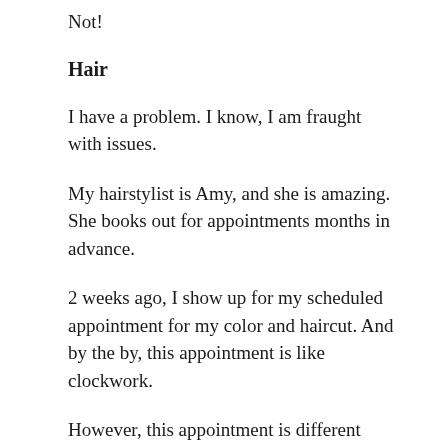Not!
Hair
I have a problem. I know, I am fraught with issues.
My hairstylist is Amy, and she is amazing. She books out for appointments months in advance.
2 weeks ago, I show up for my scheduled appointment for my color and haircut. And by the by, this appointment is like clockwork.
However, this appointment is different than all other appointments (and no, this is not a lead-in